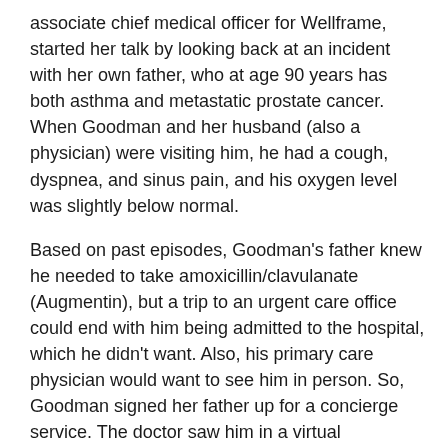associate chief medical officer for Wellframe, started her talk by looking back at an incident with her own father, who at age 90 years has both asthma and metastatic prostate cancer. When Goodman and her husband (also a physician) were visiting him, he had a cough, dyspnea, and sinus pain, and his oxygen level was slightly below normal.
Based on past episodes, Goodman's father knew he needed to take amoxicillin/clavulanate (Augmentin), but a trip to an urgent care office could end with him being admitted to the hospital, which he didn't want. Also, his primary care physician would want to see him in person. So, Goodman signed her father up for a concierge service. The doctor saw him in a virtual appointment and 20 minutes later, he had a prescription.
With 2 doctors in the house to check vitals, Goodman's father avoided a hospital stay. This is not the result for